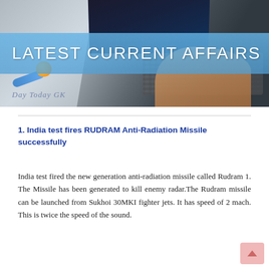[Figure (photo): Banner image showing a person typing on a laptop keyboard with a blue translucent overlay band reading 'LATEST CURRENT AFFAIRS' and logo text 'DAY TODAY GK' at bottom left. A ping-pong ball and racket are visible at left.]
1. India test fires RUDRAM Anti-Radiation Missile successfully
India test fired the new generation anti-radiation missile called Rudram 1. The Missile has been generated to kill enemy radar.The Rudram missile can be launched from Sukhoi 30MKI fighter jets. It has speed of 2 mach. This is twice the speed of the sound.